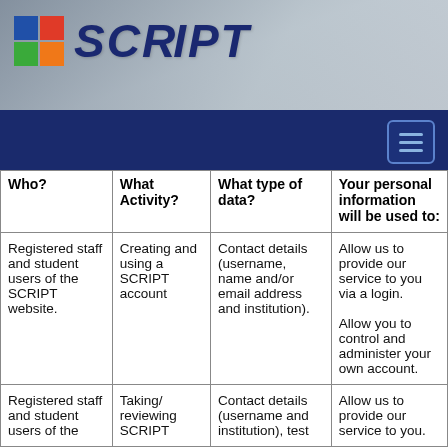[Figure (logo): SCRIPT website logo with coloured squares and italic bold text on a grey banner background]
Navigation bar with hamburger menu button
| Who? | What Activity? | What type of data? | Your personal information will be used to: |
| --- | --- | --- | --- |
| Registered staff and student users of the SCRIPT website. | Creating and using a SCRIPT account | Contact details (username, name and/or email address and institution). | Allow us to provide our service to you via a login.

Allow you to control and administer your own account. |
| Registered staff and student users of the... | Taking/ reviewing SCRIPT | Contact details (username and institution), test... | Allow us to provide our service to you. |